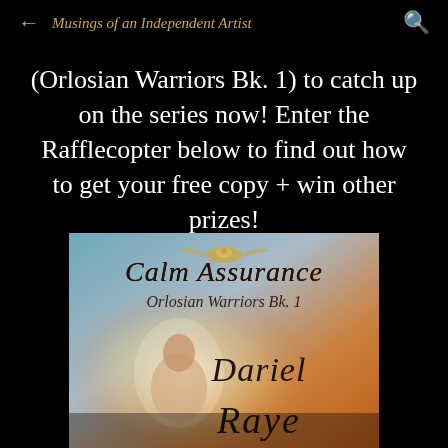Musings of an Independent Artist
(Orlosian Warriors Bk. 1) to catch up on the series now! Enter the Rafflecopter below to find out how to get your free copy + win other prizes!
[Figure (illustration): Book cover: 'Calm Assurance, Orlosian Warriors Bk. 1' by Dariel Raye. Shows a woman with warm glowing light, orange and blue tones, with a phoenix-like bird emblem at top.]